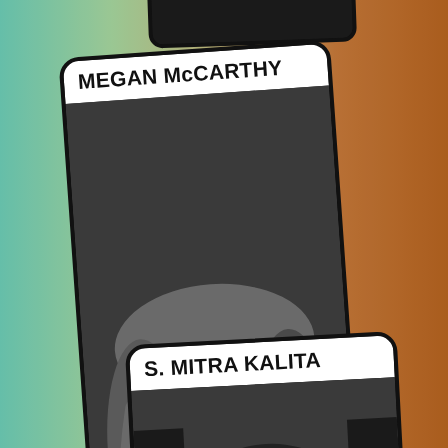[Figure (photo): Colorful gradient background blending teal/green on left and orange/brown on right]
[Figure (photo): Profile card for Megan McCarthy with black and white photo of smiling woman with long hair]
MEGAN MCCARTHY
[Figure (photo): Profile card for S. Mitra Kalita with black and white photo partially visible at bottom]
S. MITRA KALITA